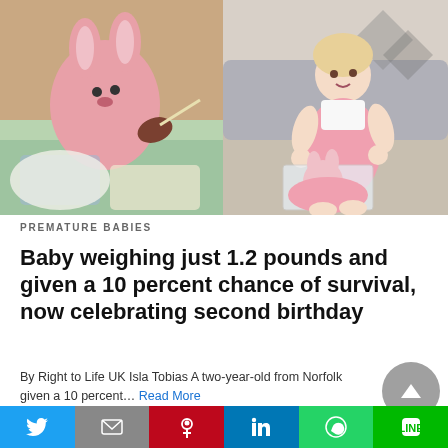[Figure (photo): Two photos side by side: left shows a premature newborn baby with a pink stuffed bunny toy in a hospital setting; right shows a toddler girl in a pink dress sitting on the floor playing with the same pink bunny toy.]
PREMATURE BABIES
Baby weighing just 1.2 pounds and given a 10 percent chance of survival, now celebrating second birthday
By Right to Life UK Isla Tobias A two-year-old from Norfolk given a 10 percent… Read More
2 hours ago